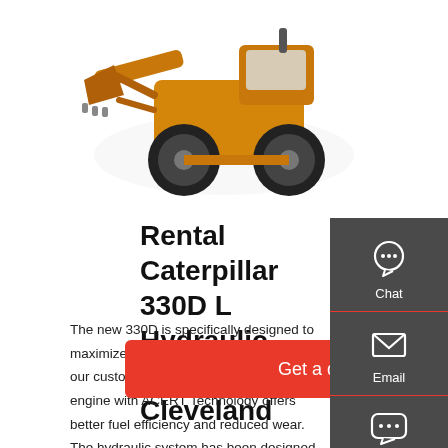[Figure (photo): Yellow Caterpillar wheel loader / hydraulic excavator machine photographed from the side, on a white background]
Rental Caterpillar 330D L Hydraulic Excavator - Cleveland
The new 330D is specifically designed to maximize productivity and to maximize our customer's output. The new Cat C9 engine with ACERT Technology offers better fuel efficiency and reduced wear. The hydraulic system has been designed to provide maximum reliability with maximum hydraulic horsepower. Expand All + Expand All +.
[Figure (infographic): Dark grey sidebar with three contact icons and labels: Chat (headset icon), Email (envelope icon), Contact (speech bubble icon), separated by red dividers]